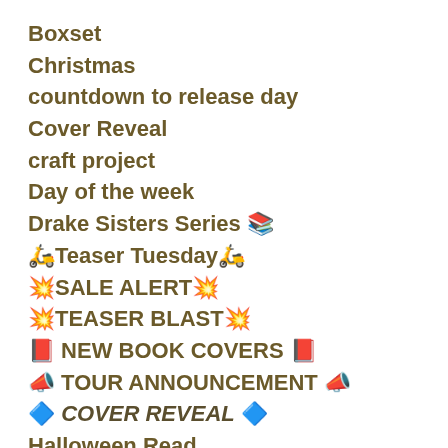Boxset
Christmas
countdown to release day
Cover Reveal
craft project
Day of the week
Drake Sisters Series 📚
🏍️Teaser Tuesday🏍️
💥SALE ALERT💥
💥TEASER BLAST💥
📕 NEW BOOK COVERS 📕
📣 TOUR ANNOUNCEMENT 📣
🔷 COVER REVEAL 🔷
Halloween Read
Holiday
kindle Review 🙍
monthly welcome (what's coming up this